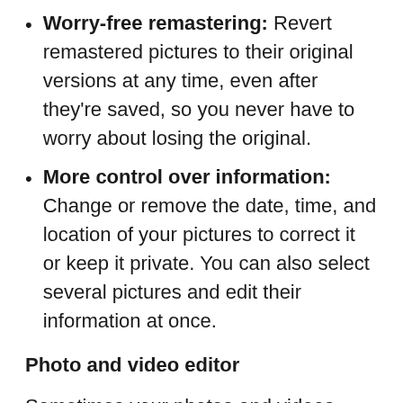Worry-free remastering: Revert remastered pictures to their original versions at any time, even after they're saved, so you never have to worry about losing the original.
More control over information: Change or remove the date, time, and location of your pictures to correct it or keep it private. You can also select several pictures and edit their information at once.
Photo and video editor
Sometimes your photos and videos need a few tweaks. One UI's Photo and Video editors are there to make your pictures look their best before